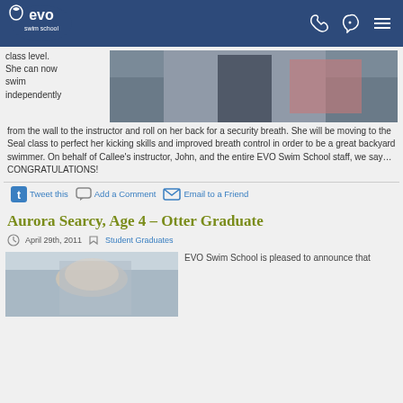EVO Swim School — navigation header
class level. She can now swim independently from the wall to the instructor and roll on her back for a security breath. She will be moving to the Seal class to perfect her kicking skills and improved breath control in order to be a great backyard swimmer. On behalf of Callee's instructor, John, and the entire EVO Swim School staff, we say…CONGRATULATIONS!
[Figure (photo): Photo of a child swimming or in a pool setting]
Tweet this
Add a Comment
Email to a Friend
Aurora Searcy, Age 4 – Otter Graduate
April 29th, 2011   Student Graduates
[Figure (photo): Photo of a young child in a swimming pool]
EVO Swim School is pleased to announce that